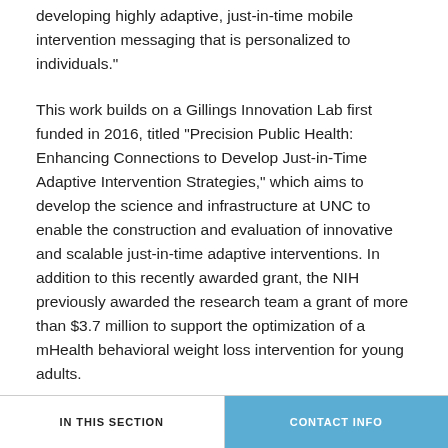developing highly adaptive, just-in-time mobile intervention messaging that is personalized to individuals."
This work builds on a Gillings Innovation Lab first funded in 2016, titled "Precision Public Health: Enhancing Connections to Develop Just-in-Time Adaptive Intervention Strategies," which aims to develop the science and infrastructure at UNC to enable the construction and evaluation of innovative and scalable just-in-time adaptive interventions. In addition to this recently awarded grant, the NIH previously awarded the research team a grant of more than $3.7 million to support the optimization of a mHealth behavioral weight loss intervention for young adults.
The study is slated to begin this month and run through December 2025.
IN THIS SECTION   CONTACT INFO